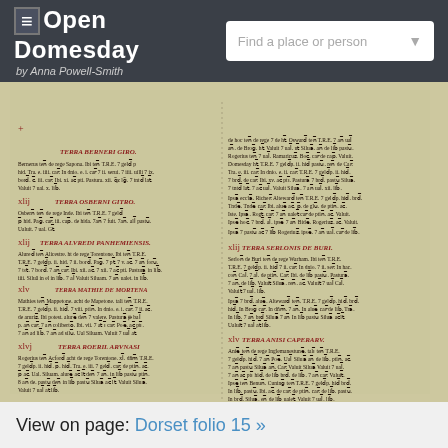Open Domesday by Anna Powell-Smith
[Figure (photo): Scanned manuscript page from the Domesday Book, showing medieval Latin text in two columns with red and black ink, handwritten on parchment. Contains entries for various land holdings including Terra Berneri Giro, Terra Osberni Gitro, Terra Alvredi Panhemiensis, Terra Mathie de Mortena, Terra Roeril Arvnasi, and Terra Serlonis de Buri, Terra Anisi Caperarv.]
View on page: Dorset folio 15 »